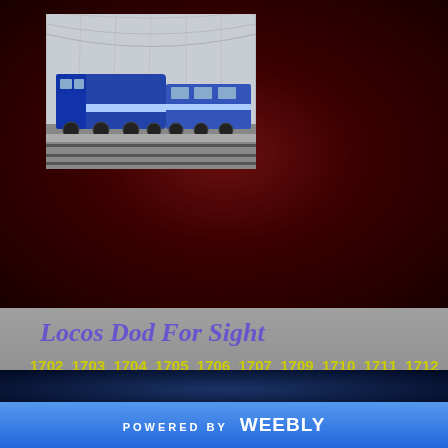[Figure (photo): Blue train locomotive at a large covered railway station with arched glass roof, black and white/grayscale background with blue locomotive in foreground]
Locos Dod For Sight
1702 1703 1704 1705 1706 1707 1709 1710 1711 1712 1726 1729 1732 1733 1734 1736 1737 1738 1739 1741 1754 1755 1756 1757 1758 1759 1760 1761 1762 1763 1781
POWERED BY weebly